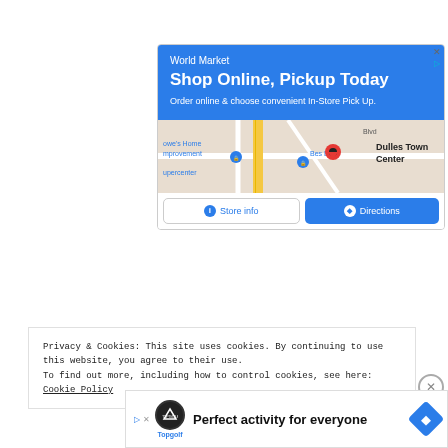[Figure (screenshot): World Market advertisement with blue header reading 'Shop Online, Pickup Today', map showing Dulles Town Center area with store pins, and two buttons: 'Store info' and 'Directions']
Privacy & Cookies: This site uses cookies. By continuing to use this website, you agree to their use.
To find out more, including how to control cookies, see here: Cookie Policy
[Figure (screenshot): Topgolf advertisement: 'Perfect activity for everyone' with Topgolf logo and directions icon]